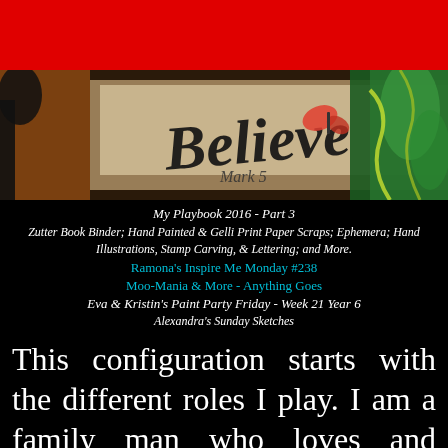[Figure (photo): Red bar at top of page, decorative banner]
[Figure (photo): Artistic banner image with 'Believe' text and butterfly illustration, colorful mixed media artwork]
My Playbook 2016 - Part 3
Zutter Book Binder; Hand Painted & Gelli Print Paper Scraps; Ephemera; Hand Illustrations, Stamp Carving, & Lettering; and More.
Ramona's Inspire Me Monday #238
Moo-Mania & More - Anything Goes
Eva & Kristin's Paint Party Friday - Week 21 Year 6
Alexandra's Sunday Sketches
This configuration starts with the different roles I play.  I am a family man who loves and respects my wife, as well as my parents and daughters.  I am an educator and artist who takes both professions seriously, and feels I should use them for the welfare of humanity